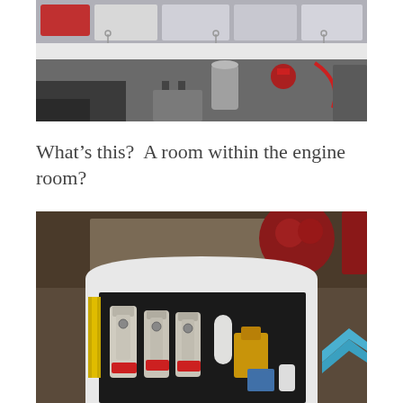[Figure (photo): Interior of an engine room or storage area showing white panels, plastic storage bins on shelves, pipes, cables, a red valve, and various equipment.]
What's this?  A room within the engine room?
[Figure (photo): Close-up view of an engine room interior showing a doorway with an arched frame, multiple cylindrical filters/separators mounted on a black panel, yellow wiring, a red component at the top, and a blue chevron arrow on the right side.]